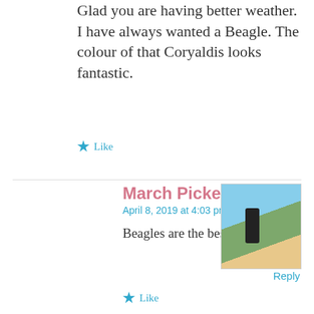Glad you are having better weather. I have always wanted a Beagle. The colour of that Coryaldis looks fantastic.
★ Like
March Picker
April 8, 2019 at 4:03 pm
[Figure (photo): Profile photo of March Picker: two people standing in a flower field]
Beagles are the best!
Reply
★ Like
cavershamjj
April 7, 2019 at 11:22 pm
[Figure (photo): Profile photo of cavershamjj: person wearing sunglasses]